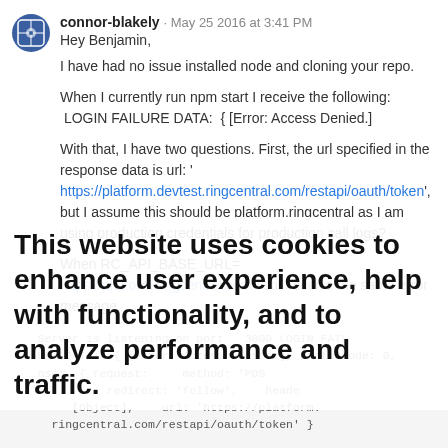connor-blakely · May 25 2016 at 3:41 PM
Hey Benjamin,

I have had no issue installed node and cloning your repo.

When I currently run npm start I receive the following:
 LOGIN FAILURE DATA:  { [Error: Access Denied.]

With that, I have two questions. First, the url specified in the response data is url: '
https://platform.devtest.ringcentral.com/restapi/oauth/token', but I assume this should be platform.ringcentral as I am using production credentials for production call logs?

When RC_API_BASE_URL= https://platform.ringcentral.com I still receive the same error message.

Second, in .env I set RC_APP_SECRET to an access token I retrieve with our production credentials prior to running npm start. Does this sound correct?

EDIT: This is the current response
[Figure (screenshot): Code block showing server terminal output with LOGIN FAILURE DATA and response details in monospace font]
This website uses cookies to enhance user experience, help with functionality, and to analyze performance and traffic.